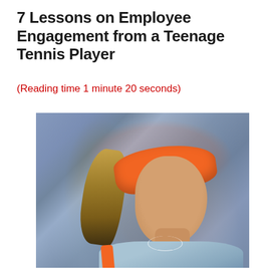7 Lessons on Employee Engagement from a Teenage Tennis Player
(Reading time 1 minute 20 seconds)
[Figure (photo): A young female tennis player wearing an orange Nike visor and light blue athletic top, with a braided ponytail, looking sideways on a tennis court with a blurred crowd in the background.]